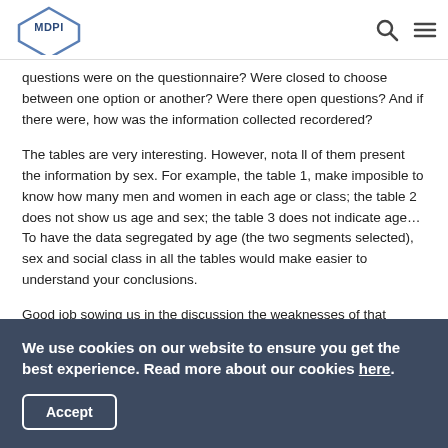MDPI
questions were on the questionnaire? Were closed to choose between one option or another? Were there open questions? And if there were, how was the information collected recordered?
The tables are very interesting. However, nota ll of them present the information by sex. For example, the table 1, make imposible to know how many men and women in each age or class; the table 2  does not show us age and sex; the table 3 does not indicate age… To have the data segregated by age (the two segments selected), sex and social class in all the tables would make easier to understand your conclusions.
Good job sowing us in the discussion the weaknesses of that researh. For that reason, the title MUST be modified. It can not be
We use cookies on our website to ensure you get the best experience. Read more about our cookies here.
Accept